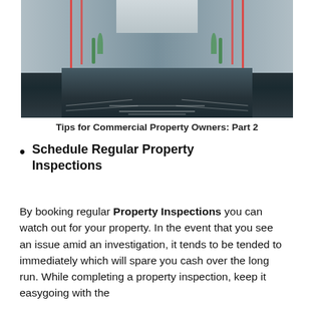[Figure (photo): Street view of a row of commercial/residential townhouse buildings on both sides of a wide empty road, perspective view looking down the center.]
Tips for Commercial Property Owners: Part 2
Schedule Regular Property Inspections
By booking regular Property Inspections you can watch out for your property. In the event that you see an issue amid an investigation, it tends to be tended to immediately which will spare you cash over the long run. While completing a property inspection, keep it easygoing with the